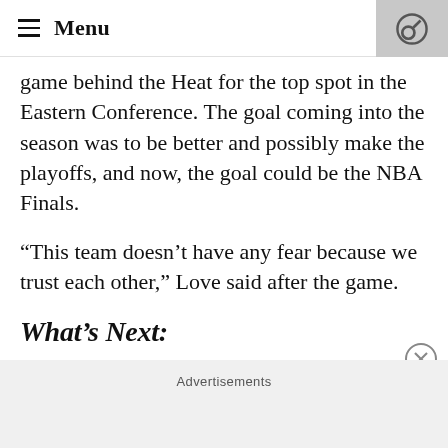Menu
game behind the Heat for the top spot in the Eastern Conference. The goal coming into the season was to be better and possibly make the playoffs, and now, the goal could be the NBA Finals.
“This team doesn’t have any fear because we trust each other,” Love said after the game.
What’s Next:
Cleveland will have a few days off before they battle the Spurs Wednesday night at Rocket
Advertisements